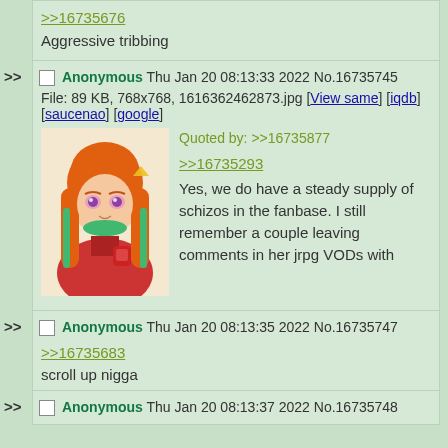>>16735676
Aggressive tribbing
Anonymous Thu Jan 20 08:13:33 2022 No.16735745
File: 89 KB, 768x768, 1616362462873.jpg [View same] [iqdb] [saucenao] [google]
Quoted by: >>16735877
>>16735293
Yes, we do have a steady supply of schizos in the fanbase. I still remember a couple leaving comments in her jrpg VODs with timestamps and talking to kiara as if they were having a conversation
Anonymous Thu Jan 20 08:13:35 2022 No.16735747
>>16735683
scroll up nigga
Anonymous Thu Jan 20 08:13:37 2022 No.16735748